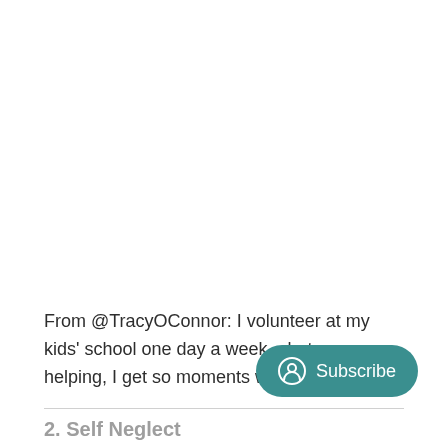From @TracyOConnor: I volunteer at my kids' school one day a week – between helping, I get so moments w/ the staff!
2. Self Neglect